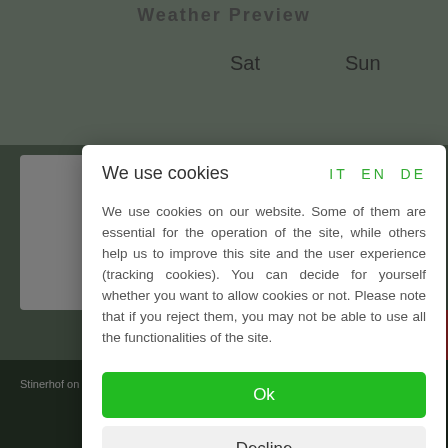[Figure (screenshot): Website background showing a weather preview page with 'Sat' and 'Sun' column headers, a dark green footer with text 'Stinerhof on bookingsouthtyrol.com ■ Impressum ■ Pri' and 'VAT.Nr: IT02334040219', and a scroll-to-top button.]
We use cookies
IT EN DE
We use cookies on our website. Some of them are essential for the operation of the site, while others help us to improve this site and the user experience (tracking cookies). You can decide for yourself whether you want to allow cookies or not. Please note that if you reject them, you may not be able to use all the functionalities of the site.
Ok
Decline
More information